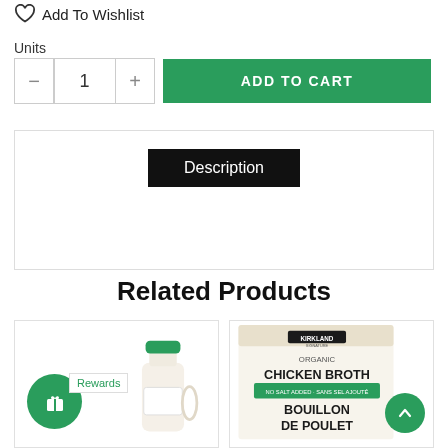Add To Wishlist
Units
- 1 + ADD TO CART
Description
Related Products
[Figure (photo): Product card with a bottle of maple syrup, a green circular rewards badge with a gift icon, and a 'Rewards' label tag]
[Figure (photo): Kirkland Organic Chicken Broth 'No Salt Added / Sans Sel Ajouté' box - Bouillon de Poulet, with a green scroll-to-top button overlay]